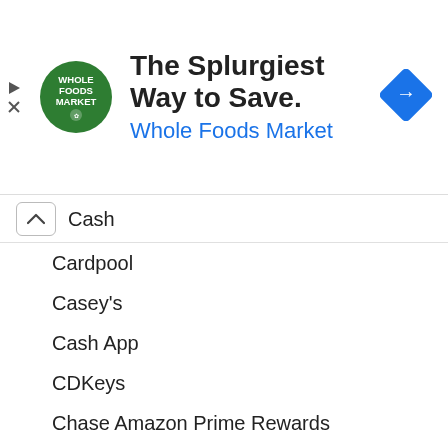[Figure (screenshot): Whole Foods Market advertisement banner with logo, headline 'The Splurgiest Way to Save.' and subtext 'Whole Foods Market' in blue, plus a blue diamond navigation arrow icon on the right. Play and close icons on the left edge.]
Cash
Cardpool
Casey's
Cash App
CDKeys
Chase Amazon Prime Rewards
Chase Freedom
Chase Freedom Flex
Chase Offers
Chase Sapphire Preferred
Chase Sapphire Reserve
Chase Ultimate Rewards
Choice Privileges
Circle K